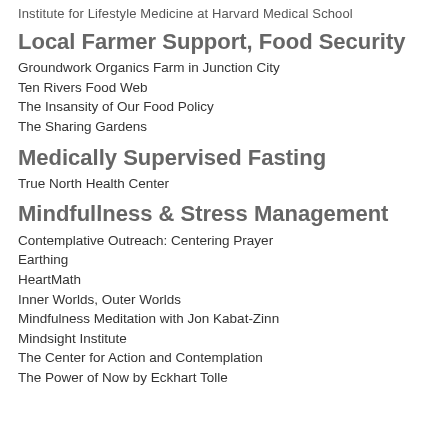Institute for Lifestyle Medicine at Harvard Medical School
Local Farmer Support, Food Security
Groundwork Organics Farm in Junction City
Ten Rivers Food Web
The Insansity of Our Food Policy
The Sharing Gardens
Medically Supervised Fasting
True North Health Center
Mindfullness & Stress Management
Contemplative Outreach: Centering Prayer
Earthing
HeartMath
Inner Worlds, Outer Worlds
Mindfulness Meditation with Jon Kabat-Zinn
Mindsight Institute
The Center for Action and Contemplation
The Power of Now by Eckhart Tolle